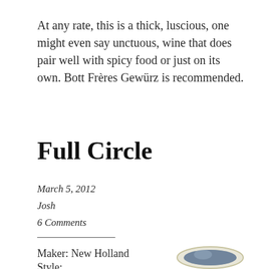At any rate, this is a thick, luscious, one might even say unctuous, wine that does pair well with spicy food or just on its own. Bott Frères Gewürz is recommended.
Full Circle
March 5, 2012
Josh
6 Comments
Maker: New Holland
Style:
[Figure (photo): Partial view of a wine bottle label with blue/slate coloring, shown from above at an angle, with a cream/beige rim visible.]